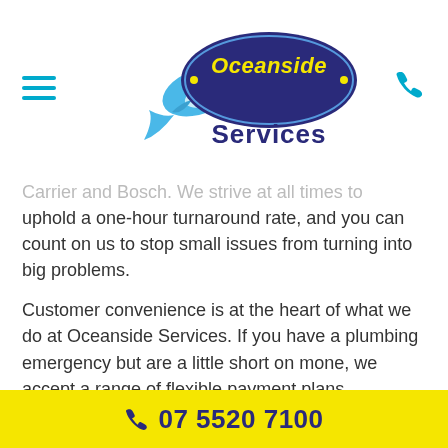[Figure (logo): Oceanside Services logo with dolphin mascot, dark blue oval with yellow 'Oceanside' text and blue 'Services' text below]
Carrier and Bosch. We strive at all times to uphold a one-hour turnaround rate, and you can count on us to stop small issues from turning into big problems.
Customer convenience is at the heart of what we do at Oceanside Services. If you have a plumbing emergency but are a little short on mone, we accept a range of flexible payment plans – including ZipPay.
Get in touch with us today. We service Burleigh,
07 5520 7100